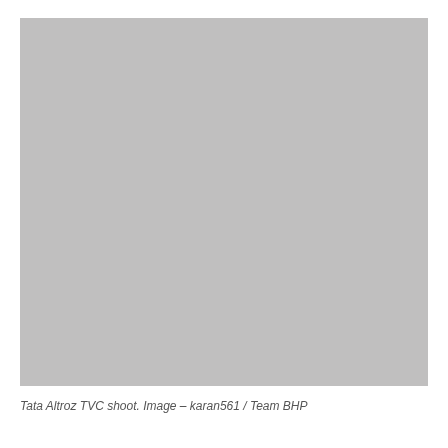[Figure (photo): A large grey/silver photograph placeholder — Tata Altroz TVC shoot image]
Tata Altroz TVC shoot. Image – karan561 / Team BHP